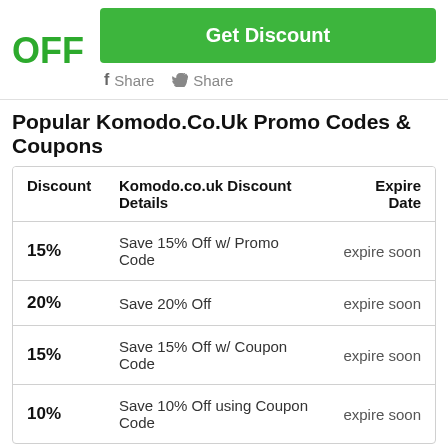OFF
Get Discount
Share  Share
Popular Komodo.Co.Uk Promo Codes & Coupons
| Discount | Komodo.co.uk Discount Details | Expire Date |
| --- | --- | --- |
| 15% | Save 15% Off w/ Promo Code | expire soon |
| 20% | Save 20% Off | expire soon |
| 15% | Save 15% Off w/ Coupon Code | expire soon |
| 10% | Save 10% Off using Coupon Code | expire soon |